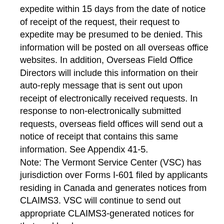expedite within 15 days from the date of notice of receipt of the request, their request to expedite may be presumed to be denied. This information will be posted on all overseas office websites. In addition, Overseas Field Office Directors will include this information on their auto-reply message that is sent out upon receipt of electronically received requests. In response to non-electronically submitted requests, overseas field offices will send out a notice of receipt that contains this same information. See Appendix 41-5.
Note: The Vermont Service Center (VSC) has jurisdiction over Forms I-601 filed by applicants residing in Canada and generates notices from CLAIMS3. VSC will continue to send out appropriate CLAIMS3-generated notices for that workload.
(2) A new Appendix 41-5 is added to read:
[SEE ATTACHED]
(3) The AFM Transmittal Memoranda button is revised by adding, in numerical order, a new entry to read:
AD 11-10 [DATE]